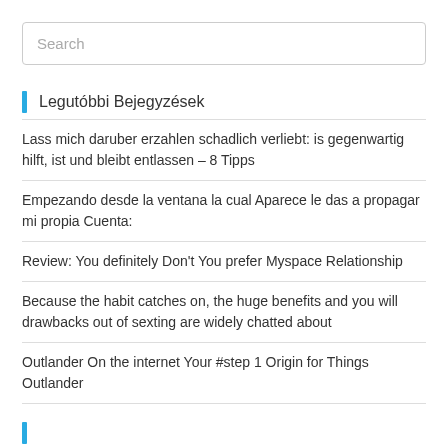Search
Legutóbbi Bejegyzések
Lass mich daruber erzahlen schadlich verliebt: is gegenwartig hilft, ist und bleibt entlassen – 8 Tipps
Empezando desde la ventana la cual Aparece le das a propagar mi propia Cuenta:
Review: You definitely Don't You prefer Myspace Relationship
Because the habit catches on, the huge benefits and you will drawbacks out of sexting are widely chatted about
Outlander On the internet Your #step 1 Origin for Things Outlander